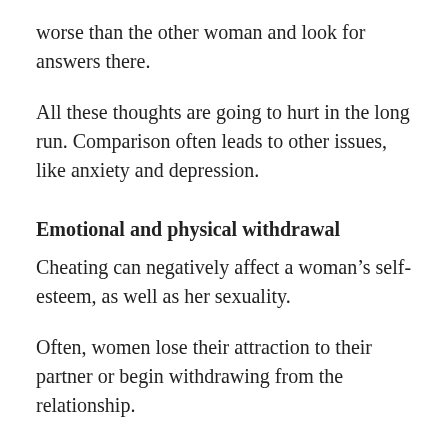worse than the other woman and look for answers there.
All these thoughts are going to hurt in the long run. Comparison often leads to other issues, like anxiety and depression.
Emotional and physical withdrawal
Cheating can negatively affect a woman’s self-esteem, as well as her sexuality.
Often, women lose their attraction to their partner or begin withdrawing from the relationship.